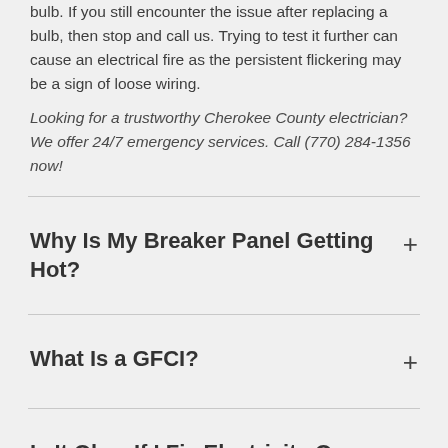bulb. If you still encounter the issue after replacing a bulb, then stop and call us. Trying to test it further can cause an electrical fire as the persistent flickering may be a sign of loose wiring.
Looking for a trustworthy Cherokee County electrician? We offer 24/7 emergency services. Call (770) 284-1356 now!
Why Is My Breaker Panel Getting Hot?
What Is a GFCI?
Is It Okay If I Fix Electricity On